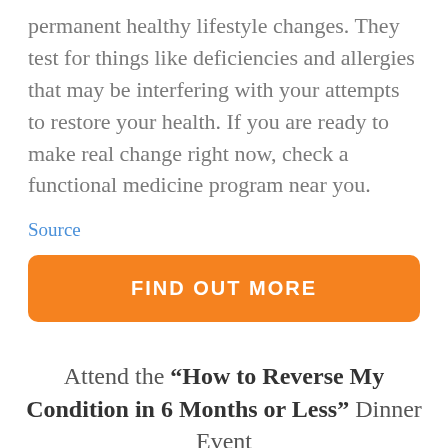permanent healthy lifestyle changes. They test for things like deficiencies and allergies that may be interfering with your attempts to restore your health. If you are ready to make real change right now, check a functional medicine program near you.
Source
FIND OUT MORE
Attend the “How to Reverse My Condition in 6 Months or Less” Dinner Event